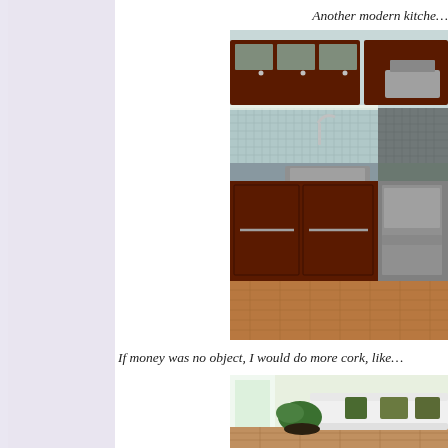Another modern kitche…
[Figure (photo): Modern kitchen with dark cherry wood cabinets, granite countertops with an undermount sink, mosaic tile backsplash, stainless steel appliances including a gas range and hood vent, and cork flooring.]
If money was no object, I would do more cork, like…
[Figure (photo): Living room with white sofa, green decorative pillows, potted green plants, and cork flooring.]